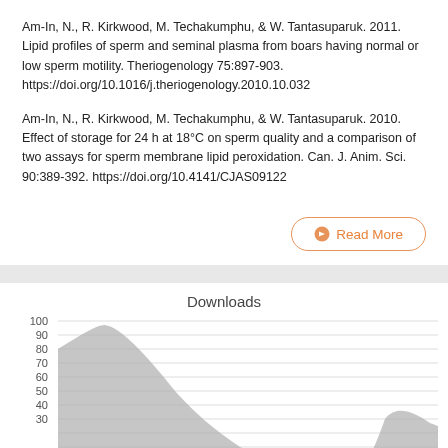Am-In, N., R. Kirkwood, M. Techakumphu, & W. Tantasuparuk. 2011. Lipid profiles of sperm and seminal plasma from boars having normal or low sperm motility. Theriogenology 75:897-903. https://doi.org/10.1016/j.theriogenology.2010.10.032
Am-In, N., R. Kirkwood, M. Techakumphu, & W. Tantasuparuk. 2010. Effect of storage for 24 h at 18°C on sperm quality and a comparison of two assays for sperm membrane lipid peroxidation. Can. J. Anim. Sci. 90:389-392. https://doi.org/10.4141/CJAS09122
Read More
[Figure (area-chart): Area chart showing downloads over time. Y-axis from 0 to 100 with gridlines at 30,40,50,60,70,80,90,100. Shows a peak around 90-93 early on, dropping to ~30, then a smaller peak around 30 towards the right.]